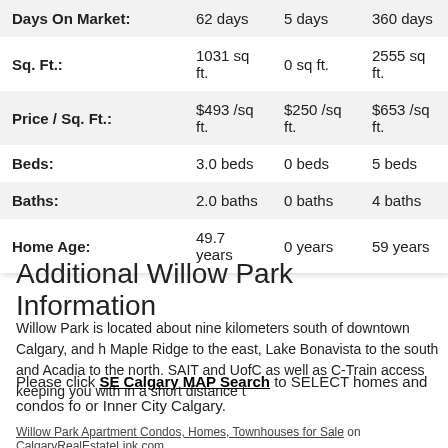|  | Average | Min | Max |
| --- | --- | --- | --- |
| Days On Market: | 62 days | 5 days | 360 days |
| Sq. Ft.: | 1031 sq ft. | 0 sq ft. | 2555 sq ft. |
| Price / Sq. Ft.: | $493 /sq ft. | $250 /sq ft. | $653 /sq ft. |
| Beds: | 3.0 beds | 0 beds | 5 beds |
| Baths: | 2.0 baths | 0 baths | 4 baths |
| Home Age: | 49.7 years | 0 years | 59 years |
Additional Willow Park Information
Willow Park is located about nine kilometers south of downtown Calgary, and has Maple Ridge to the east, Lake Bonavista to the south and Acadia to the north. SAIT and UofC as well as C-Train access keeping you with in a short distance t
Please click SE Calgary MAP Search to SELECT homes and condos fo or Inner City Calgary.
Willow Park  Apartment Condos, Homes, Townhouses for Sale on CalgaryRealEstateLink.com